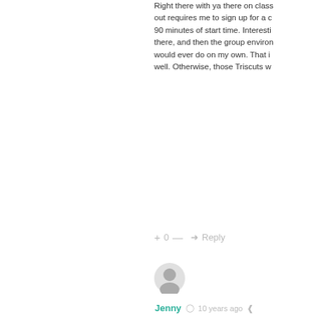Right there with ya there on class... out requires me to sign up for a c... 90 minutes of start time. Interesti... there, and then the group environ... would ever do on my own. That i... well. Otherwise, those Triscuts w...
+ 0 — ➜ Reply
[Figure (illustration): User avatar circle icon (gray silhouette)]
Jenny © 10 years ago ⋄
You must be in my brain! I'm righ... workout horse wondering why, oh... months ago. And why, please oh... excercise to turn to mush and pu... back to where you once were? I'... the effort is put forth. Yeah for us...